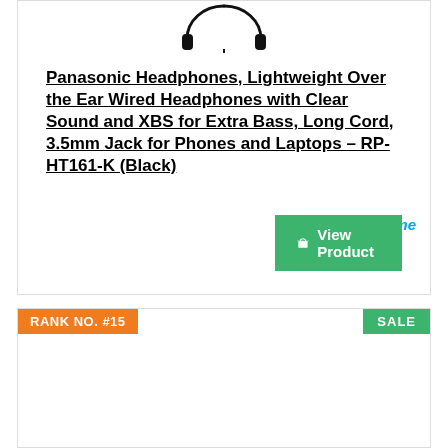[Figure (photo): Black over-ear wired headphones from Panasonic, product photo on white background]
Panasonic Headphones, Lightweight Over the Ear Wired Headphones with Clear Sound and XBS for Extra Bass, Long Cord, 3.5mm Jack for Phones and Laptops – RP-HT161-K (Black)
[Figure (logo): Amazon Prime logo with blue checkmark and text]
View Product
RANK NO. #15
SALE